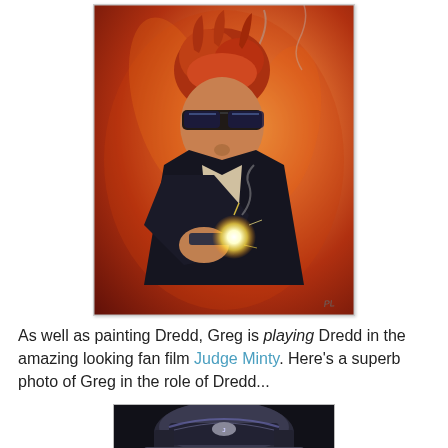[Figure (illustration): Painted illustration of a man with red/orange hair and dark sunglasses pointing a gun with a bright muzzle flash toward the viewer, against a fiery orange-red background. Signed at the bottom right.]
As well as painting Dredd, Greg is playing Dredd in the amazing looking fan film Judge Minty. Here's a superb photo of Greg in the role of Dredd...
[Figure (photo): Partial photo showing a Judge Dredd helmet/costume from the fan film Judge Minty, dark background with shiny helmet details visible.]